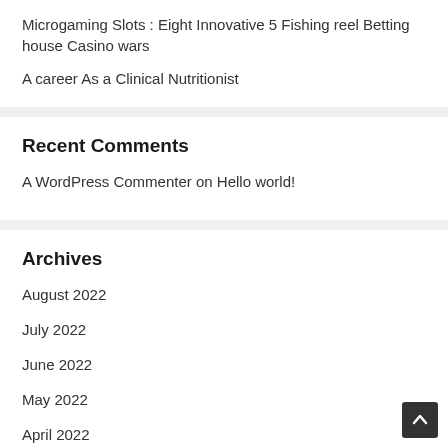Microgaming Slots : Eight Innovative 5 Fishing reel Betting house Casino wars
A career As a Clinical Nutritionist
Recent Comments
A WordPress Commenter on Hello world!
Archives
August 2022
July 2022
June 2022
May 2022
April 2022
March 2022